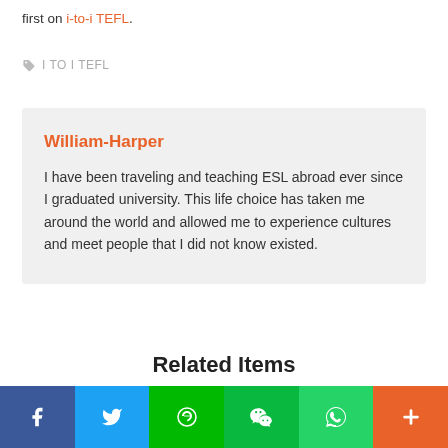first on i-to-i TEFL.
I TO I TEFL
William-Harper
I have been traveling and teaching ESL abroad ever since I graduated university. This life choice has taken me around the world and allowed me to experience cultures and meet people that I did not know existed.
Related Items